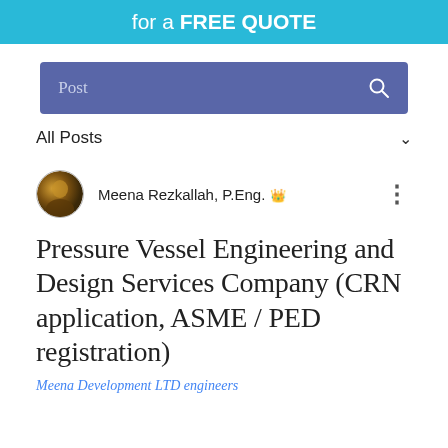for a FREE QUOTE
[Figure (screenshot): Search bar with blue/indigo background, showing 'Post' label and a search icon on the right]
All Posts
Meena Rezkallah, P.Eng. [admin crown icon]
Pressure Vessel Engineering and Design Services Company (CRN application, ASME / PED registration)
Meena Development LTD engineers